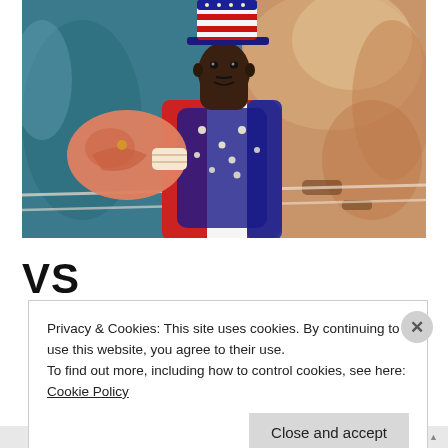[Figure (photo): A boxer wearing a patriotic American flag-themed outfit with a top hat featuring stars and stripes, and a sequined vest. He is pointing forward with a boxing glove. The background shows a blurred boxing ring environment.]
VS
Privacy & Cookies: This site uses cookies. By continuing to use this website, you agree to their use.
To find out more, including how to control cookies, see here: Cookie Policy
Close and accept